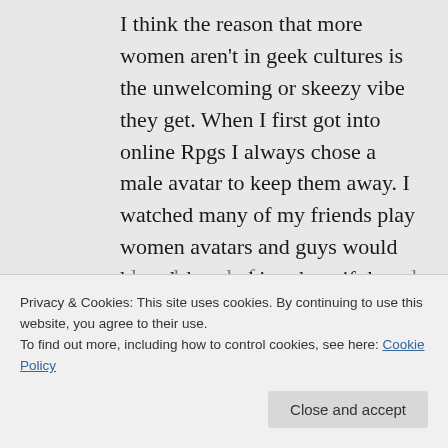I think the reason that more women aren't in geek cultures is the unwelcoming or skeezy vibe they get. When I first got into online Rpgs I always chose a male avatar to keep them away. I watched many of my friends play women avatars and guys would hound them asking them if they were real gurls or doing things exceptionally disgusting. They would get lewd tells and one played a male for many years and
Privacy & Cookies: This site uses cookies. By continuing to use this website, you agree to their use.
To find out more, including how to control cookies, see here: Cookie Policy
Close and accept